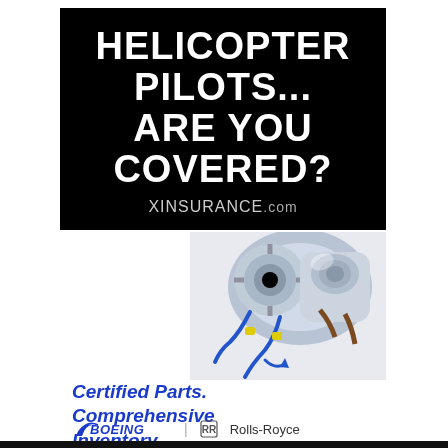[Figure (infographic): Black background ad for XINSURANCE.com targeting helicopter pilots with bold white text: 'HELICOPTER PILOTS... ARE YOU COVERED?' and website URL in gray below.]
[Figure (illustration): Illustration of a helicopter engine/turbine with blue hoses and mechanical components, detailed engineering cutaway style.]
Certified Parts. Comprehensive Inventory.
[Figure (logo): Boeing logo and Rolls-Royce logo side by side.]